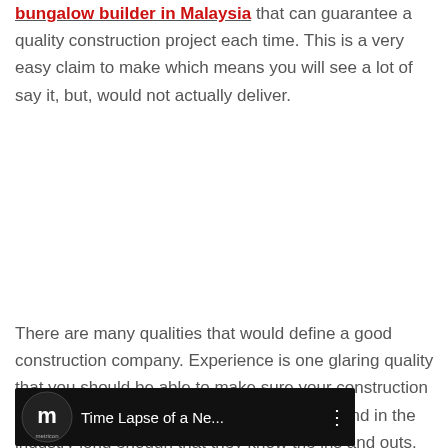bungalow builder in Malaysia that can guarantee a quality construction project each time. This is a very easy claim to make which means you will see a lot of say it, but, would not actually deliver.
There are many qualities that would define a good construction company. Experience is one glaring quality that you should be able to make sure your construction company has. It means they have been around in the industry long enough that they know the ins and outs. They have served a lot of clients and completed a lot of projects as well.
[Figure (screenshot): Video thumbnail showing Metricon logo and title 'Time Lapse of a Ne...' with three-dot menu icon on dark background]